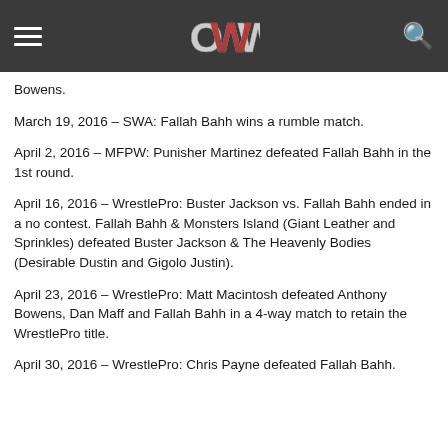OWW [logo header]
Bowens.
March 19, 2016 – SWA: Fallah Bahh wins a rumble match.
April 2, 2016 – MFPW: Punisher Martinez defeated Fallah Bahh in the 1st round.
April 16, 2016 – WrestlePro: Buster Jackson vs. Fallah Bahh ended in a no contest. Fallah Bahh & Monsters Island (Giant Leather and Sprinkles) defeated Buster Jackson & The Heavenly Bodies (Desirable Dustin and Gigolo Justin).
April 23, 2016 – WrestlePro: Matt Macintosh defeated Anthony Bowens, Dan Maff and Fallah Bahh in a 4-way match to retain the WrestlePro title.
April 30, 2016 – WrestlePro: Chris Payne defeated Fallah Bahh.